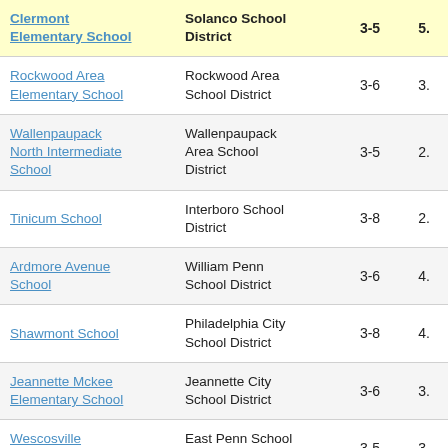| School | District | Grades | Value |
| --- | --- | --- | --- |
| Clermont Elementary School | Solanco School District | 3-5 | 5. |
| Rockwood Area Elementary School | Rockwood Area School District | 3-6 | 3. |
| Wallenpaupack North Intermediate School | Wallenpaupack Area School District | 3-5 | 2. |
| Tinicum School | Interboro School District | 3-8 | 2. |
| Ardmore Avenue School | William Penn School District | 3-6 | 4. |
| Shawmont School | Philadelphia City School District | 3-8 | 4. |
| Jeannette Mckee Elementary School | Jeannette City School District | 3-6 | 3. |
| Wescosville Elementary School | East Penn School District | 3-5 | 3. |